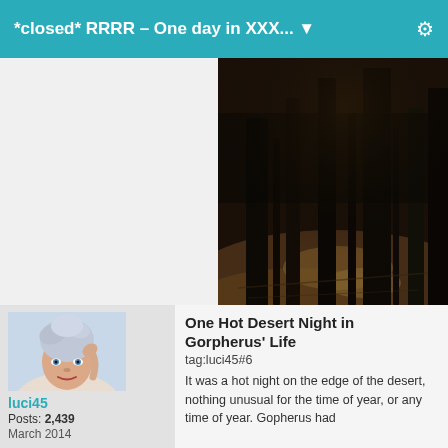*closed* RRRR – One day in XXX... ▼
[Figure (photo): Dark forest floor photo with tall tree trunks and dappled light on the ground]
[Figure (photo): Avatar photo of a woman with short light-colored hair styled upward, posing with hand near head]
One Hot Desert Night in Gorpherus' Life
tag:luci45#6
luci45
Posts: 2,439
March 2014
It was a hot night on the edge of the desert, nothing unusual for the time of year, or any time of year. Gopherus had